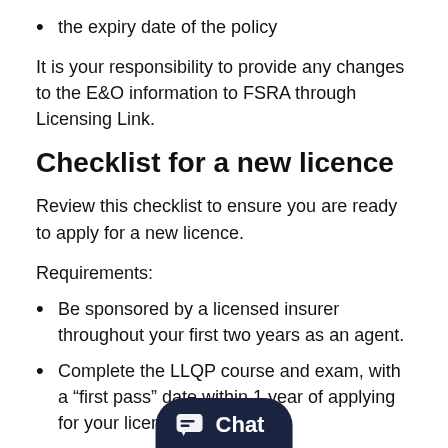the expiry date of the policy
It is your responsibility to provide any changes to the E&O information to FSRA through Licensing Link.
Checklist for a new licence
Review this checklist to ensure you are ready to apply for a new licence.
Requirements:
Be sponsored by a licensed insurer throughout your first two years as an agent.
Complete the LLQP course and exam, with a “first pass” date within 1 year of applying for your licence.
Ensure you have the appro[priate e&o in]surance in